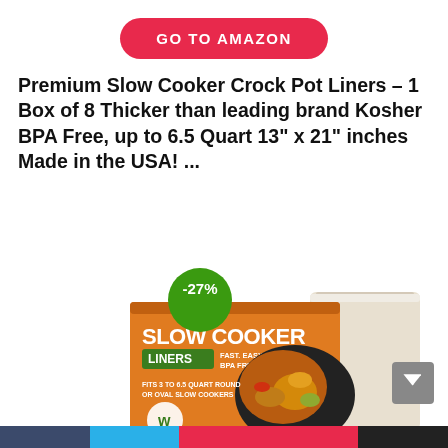GO TO AMAZON
Premium Slow Cooker Crock Pot Liners – 1 Box of 8 Thicker than leading brand Kosher BPA Free, up to 6.5 Quart 13" x 21" inches Made in the USA! ...
[Figure (photo): Product image of Slow Cooker Liners box in orange packaging with -27% discount badge (green circle). Box reads: SLOW COOKER LINERS, FAST, EASY CLEAN-UP! BPA FREE, FITS 3 TO 6.5 QUART ROUND OR OVAL SLOW COOKERS. Shows a slow cooker with food and a white cloth/liner beside it.]